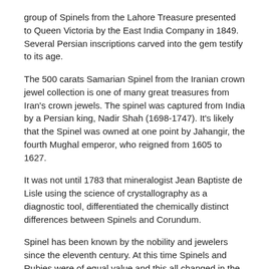group of Spinels from the Lahore Treasure presented to Queen Victoria by the East India Company in 1849. Several Persian inscriptions carved into the gem testify to its age.
The 500 carats Samarian Spinel from the Iranian crown jewel collection is one of many great treasures from Iran's crown jewels. The spinel was captured from India by a Persian king, Nadir Shah (1698-1747). It's likely that the Spinel was owned at one point by Jahangir, the fourth Mughal emperor, who reigned from 1605 to 1627.
It was not until 1783 that mineralogist Jean Baptiste de Lisle using the science of crystallography as a diagnostic tool, differentiated the chemically distinct differences between Spinels and Corundum.
Spinel has been known by the nobility and jewelers since the eleventh century. At this time Spinels and Rubies were of equal value and this all changed in the 18th century when Rubies acquire a higher value than Spinel.